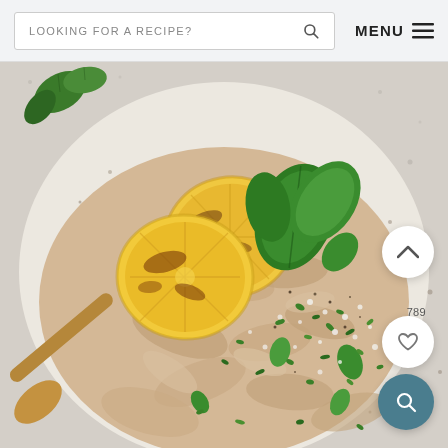LOOKING FOR A RECIPE? [search] MENU ≡
[Figure (photo): Overhead photo of a speckled ceramic bowl filled with creamy orzo or risotto, topped with two charred lemon slices, fresh basil leaves, crumbled feta cheese, and chopped herbs. A wooden spoon is visible at the bottom left. The background shows a light gray surface with a few basil leaves.]